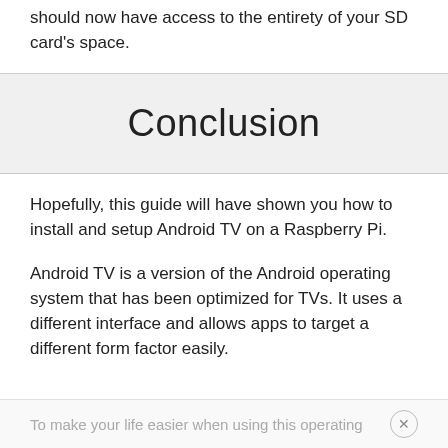should now have access to the entirety of your SD card's space.
Conclusion
Hopefully, this guide will have shown you how to install and setup Android TV on a Raspberry Pi.
Android TV is a version of the Android operating system that has been optimized for TVs. It uses a different interface and allows apps to target a different form factor easily.
To make your life easier when using this operating